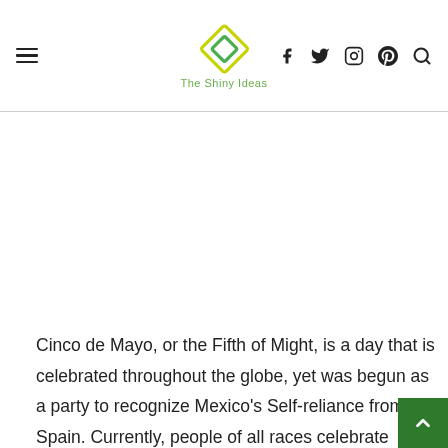The Shiny Ideas
Cinco de Mayo, or the Fifth of Might, is a day that is celebrated throughout the globe, yet was begun as a party to recognize Mexico's Self-reliance from Spain. Currently, people of all races celebrate Cinco de Mayo by enhancing with plenty of blossoms, the colors of Mexico's flag (environment-frien…